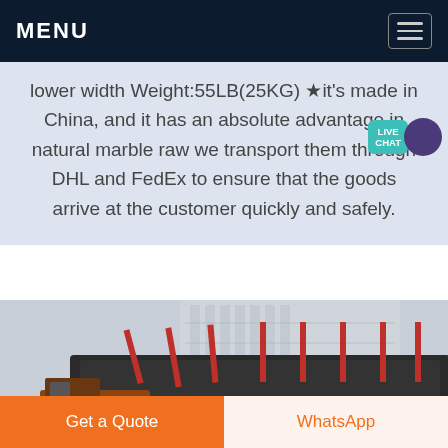MENU
lower width Weight:55LB(25KG) ★it's made in China, and it has an absolute advantage in natural marble raw we transport them through DHL and FedEx to ensure that the goods arrive at the customer quickly and safely.
[Figure (photo): Industrial machinery on a truck or transport vehicle with red components, photographed outdoors near a building]
Get a Quote
WhatsApp